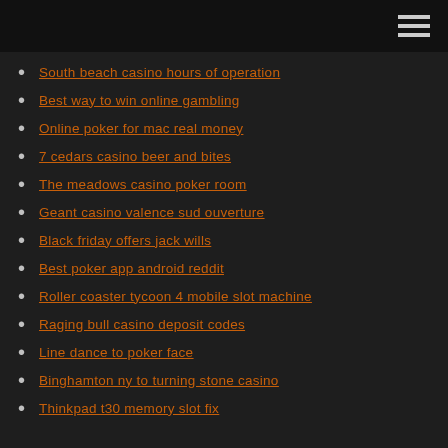South beach casino hours of operation
Best way to win online gambling
Online poker for mac real money
7 cedars casino beer and bites
The meadows casino poker room
Geant casino valence sud ouverture
Black friday offers jack wills
Best poker app android reddit
Roller coaster tycoon 4 mobile slot machine
Raging bull casino deposit codes
Line dance to poker face
Binghamton ny to turning stone casino
Thinkpad t30 memory slot fix